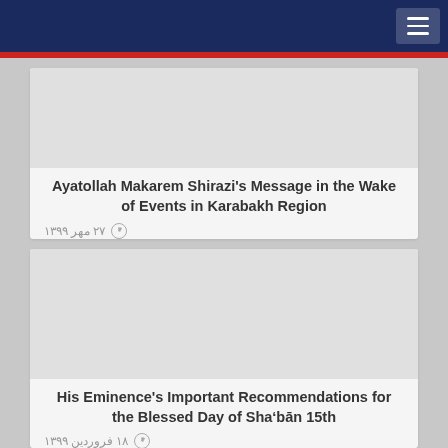Ayatollah Makarem Shirazi&#39;s Message in the Wake of Events in Karabakh Region
۲۷ مهر ۱۳۹۹
His Eminence&#39;s Important Recommendations for the Blessed Day of Sha’bān 15th
۱۸ فروردین ۱۳۹۹